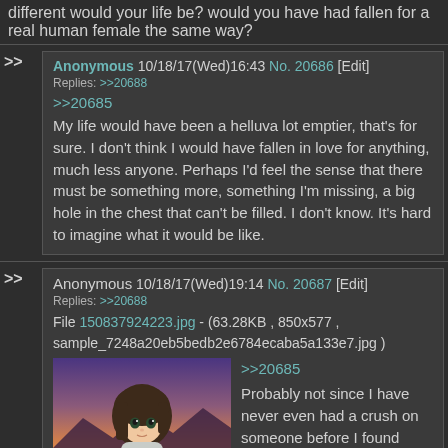different would your life be? would you have had fallen for a real human female the same way?
Anonymous 10/18/17(Wed)16:43 No. 20686 [Edit]
Replies: >>20688
>>20685
My life would have been a helluva lot emptier, that's for sure. I don't think I would have fallen in love for anything, much less anyone. Perhaps I'd feel the sense that there must be something more, something I'm missing, a big hole in the chest that can't be filled. I don't know. It's hard to imagine what it would be like.
Anonymous 10/18/17(Wed)19:14 No. 20687 [Edit]
Replies: >>20688
File 150837924223.jpg - (63.28KB , 850x577 , sample_7248a20eb5bedb2e6784ecaba5a133e7.jpg )
>>20685
Probably not since I have never even had a crush on someone before I found anime and my waifu, so I
[Figure (illustration): Anime girl with brown hair sitting near water at sunset, looking melancholy]